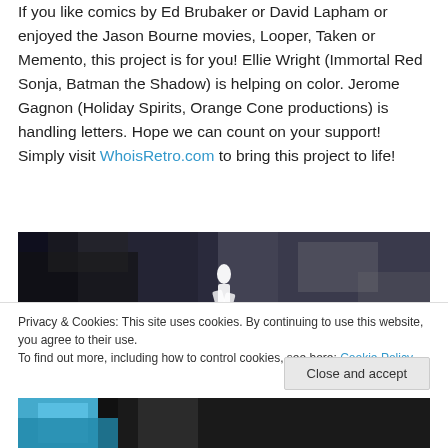If you like comics by Ed Brubaker or David Lapham or enjoyed the Jason Bourne movies, Looper, Taken or Memento, this project is for you! Ellie Wright (Immortal Red Sonja, Batman the Shadow) is helping on color. Jerome Gagnon (Holiday Spirits, Orange Cone productions) is handling letters. Hope we can count on your support! Simply visit WhoisRetro.com to bring this project to life!
[Figure (photo): Dark monochrome image showing a faint white figure against a textured dark grey and black background]
Privacy & Cookies: This site uses cookies. By continuing to use this website, you agree to their use.
To find out more, including how to control cookies, see here: Cookie Policy
Close and accept
[Figure (photo): Partial bottom image showing colorful comic art in blue and black tones]